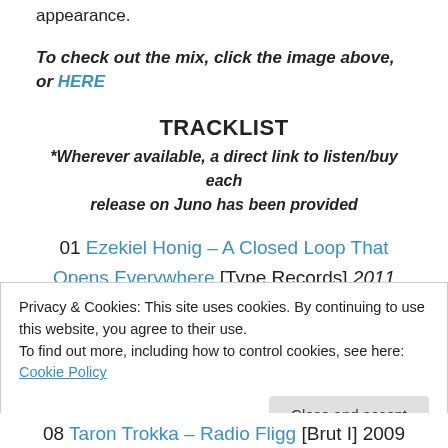appearance.
To check out the mix, click the image above, or HERE
TRACKLIST
*Wherever available, a direct link to listen/buy each release on Juno has been provided
01 Ezekiel Honig – A Closed Loop That Opens Everywhere [Type Records] 2011
02 Mind Over MIDI – Ancient Machine [Silent Season] 2014
Privacy & Cookies: This site uses cookies. By continuing to use this website, you agree to their use. To find out more, including how to control cookies, see here: Cookie Policy
08 Taron Trokka – Radio Fligg [Brut I] 2009